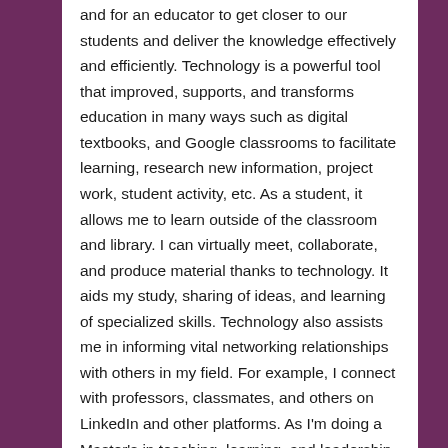and for an educator to get closer to our students and deliver the knowledge effectively and efficiently. Technology is a powerful tool that improved, supports, and transforms education in many ways such as digital textbooks, and Google classrooms to facilitate learning, research new information, project work, student activity, etc. As a student, it allows me to learn outside of the classroom and library. I can virtually meet, collaborate, and produce material thanks to technology. It aids my study, sharing of ideas, and learning of specialized skills. Technology also assists me in informing vital networking relationships with others in my field. For example, I connect with professors, classmates, and others on LinkedIn and other platforms. As I'm doing a Master's in teaching, learning, and leadership program here in Regina, my life is becoming even more familiar with the technology. Due to the covid19 pandemic, I use zoom to take classes, for all of my courses I had to interact with other people, it is not just me and the computer screen. Be it emailing the teacher for help on a question, asking the advice of other adults and students, questioning people for an assignment, studying with someone for a